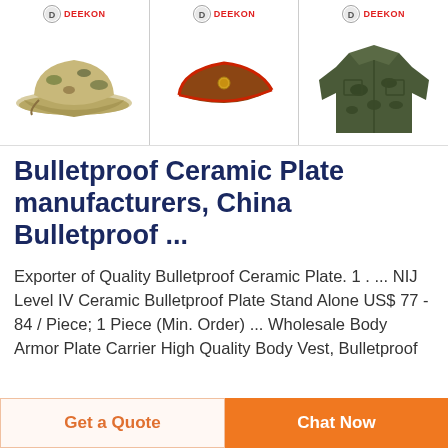[Figure (photo): Three product images in a row with DEEKON logo above each: 1) camouflage boonie hat, 2) brown military garrison cap with red trim, 3) camouflage military jacket/shirt]
Bulletproof Ceramic Plate manufacturers, China Bulletproof ...
Exporter of Quality Bulletproof Ceramic Plate. 1 . ... NIJ Level IV Ceramic Bulletproof Plate Stand Alone US$ 77 - 84 / Piece; 1 Piece (Min. Order) ... Wholesale Body Armor Plate Carrier High Quality Body Vest, Bulletproof
Get a Quote
Chat Now